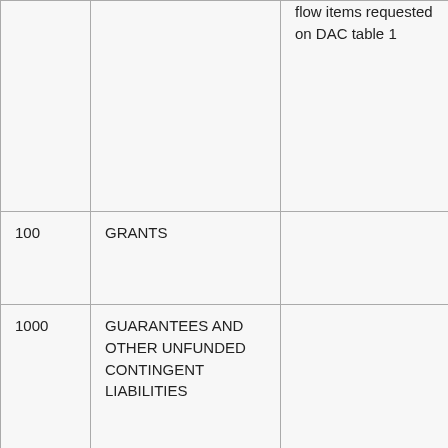| Code | Name | Description |
| --- | --- | --- |
|  |  | flow items requested on DAC table 1 |
| 100 | GRANTS |  |
| 1000 | GUARANTEES AND OTHER UNFUNDED CONTINGENT LIABILITIES |  |
| 200 | INTEREST SUBSIDY | Subsidies to soften the terms of private export credits, or loans or credits by the |